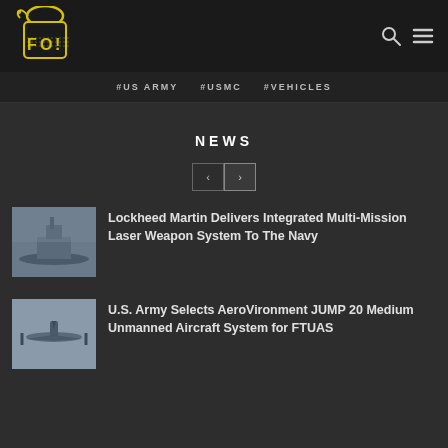[Figure (logo): FOI website logo with grenade and text in yellow on dark background]
#US ARMY  #USMC  #VEHICLES
NEWS
Lockheed Martin Delivers Integrated Multi-Mission Laser Weapon System To The Navy
U.S. Army Selects AeroVironment JUMP 20 Medium Unmanned Aircraft System for FTUAS